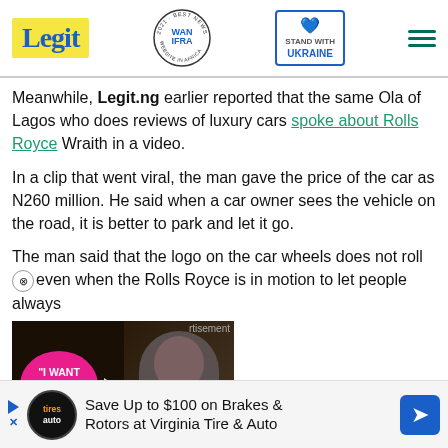Legit | WAN IFRA 2021 Best News Website in Africa | Stand With Ukraine
Meanwhile, Legit.ng earlier reported that the same Ola of Lagos who does reviews of luxury cars spoke about Rolls Royce Wraith in a video.
In a clip that went viral, the man gave the price of the car as N260 million. He said when a car owner sees the vehicle on the road, it is better to park and let it go.
The man said that the logo on the car wheels does not roll even when the Rolls Royce is in motion to let people always
[Figure (screenshot): Video thumbnail showing a couple with a pink speech bubble saying 'I WANT TO BE HAPPY' with a play button overlay and a red down-arrow button]
rtisement
Save Up to $100 on Brakes & Rotors at Virginia Tire & Auto